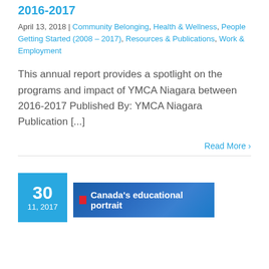2016-2017
April 13, 2018 | Community Belonging, Health & Wellness, People Getting Started (2008 – 2017), Resources & Publications, Work & Employment
This annual report provides a spotlight on the programs and impact of YMCA Niagara between 2016-2017 Published By: YMCA Niagara Publication [...]
Read More >
[Figure (other): Blue date box showing '30' and '11, 2017' next to a banner image reading 'Canada's educational portrait' with a red marker icon on a blue background]